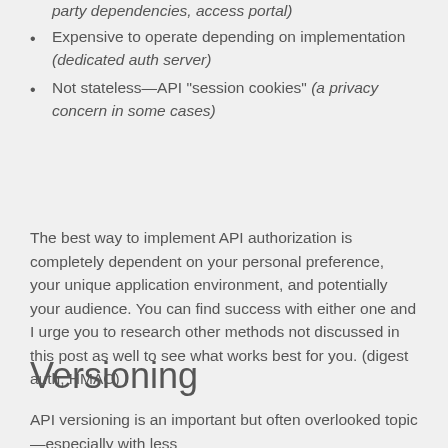Harder to setup and maintain (third party dependencies, access portal)
Expensive to operate depending on implementation (dedicated auth server)
Not stateless—API "session cookies" (a privacy concern in some cases)
The best way to implement API authorization is completely dependent on your personal preference, your unique application environment, and potentially your audience. You can find success with either one and I urge you to research other methods not discussed in this post as well to see what works best for you. (digest auth, HMAC)
Versioning
API versioning is an important but often overlooked topic—especially with less